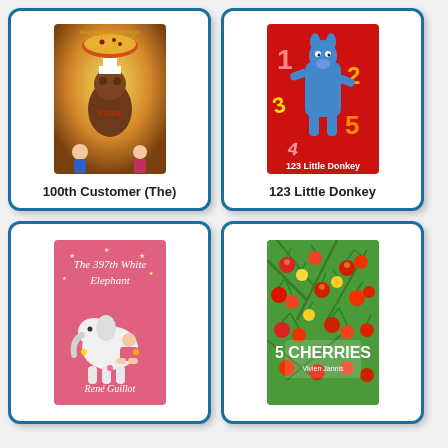[Figure (illustration): Book cover of '100th Customer (The)' showing a bear chef holding a pizza, with children around, warm golden tones]
100th Customer (The)
[Figure (illustration): Book cover of '123 Little Donkey' showing a blue donkey character on a bright red background with numbers]
123 Little Donkey
[Figure (illustration): Book cover of 'The 397th White Elephant' by René Guillot, pink background with illustrated figures of children and an elephant]
[Figure (illustration): Book cover of '5 Cherries' by Vivien Jannis, green background covered with illustrated red and yellow cherries]